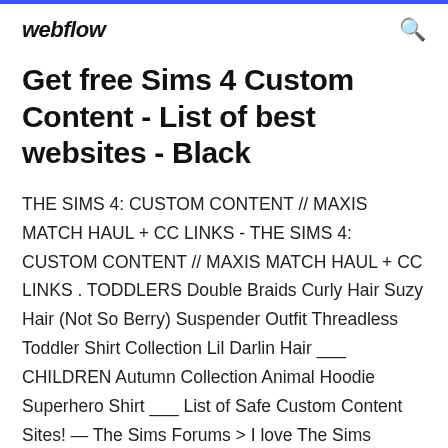webflow
Get free Sims 4 Custom Content - List of best websites - Black
THE SIMS 4: CUSTOM CONTENT // MAXIS MATCH HAUL + CC LINKS - THE SIMS 4: CUSTOM CONTENT // MAXIS MATCH HAUL + CC LINKS . TODDLERS Double Braids Curly Hair Suzy Hair (Not So Berry) Suspender Outfit Threadless Toddler Shirt Collection Lil Darlin Hair ___ CHILDREN Autumn Collection Animal Hoodie Superhero Shirt ___ List of Safe Custom Content Sites! — The Sims Forums > I love The Sims Resource. I have used it for quite a bit now. But you have to be very careful with what